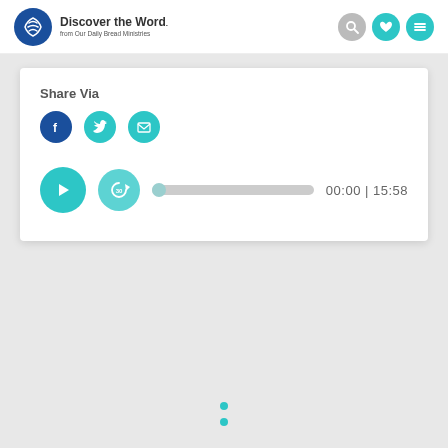[Figure (logo): Discover the Word logo with circular blue emblem and text 'Discover the Word. from Our Daily Bread Ministries', with search, heart, and menu icons on right]
Share Via
[Figure (infographic): Social share buttons: Facebook (blue circle), Twitter (teal circle), Email (teal circle with envelope icon)]
[Figure (infographic): Audio player with teal play button, teal replay-30 button, progress bar, and time display showing 00:00 | 15:58]
[Figure (infographic): Two teal dots at bottom center of page, indicating a loading spinner or pagination indicator]